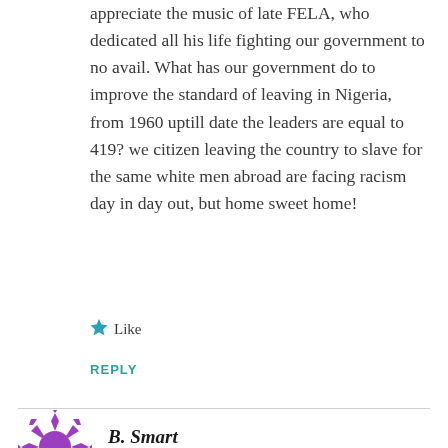appreciate the music of late FELA, who dedicated all his life fighting our government to no avail. What has our government do to improve the standard of leaving in Nigeria, from 1960 uptill date the leaders are equal to 419? we citizen leaving the country to slave for the same white men abroad are facing racism day in day out, but home sweet home!
Like
REPLY
B. Smart